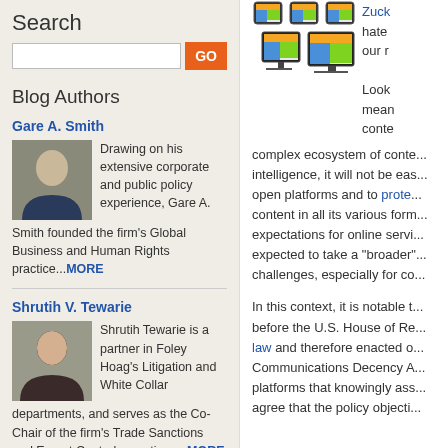Search
[Figure (screenshot): Search input box with orange GO button]
Blog Authors
Gare A. Smith
[Figure (photo): Photo of Gare A. Smith, man in suit]
Drawing on his extensive corporate and public policy experience, Gare A. Smith founded the firm's Global Business and Human Rights practice....MORE
Shrutih V. Tewarie
[Figure (photo): Photo of Shrutih V. Tewarie, woman]
Shrutih Tewarie is a partner in Foley Hoag's Litigation and White Collar departments, and serves as the Co-Chair of the firm's Trade Sanctions and Export Controls practice. ...MORE
Isa Mirza
[Figure (illustration): Icons of multiple devices (tablets, laptops, monitors) with colorful layouts]
Zuck... hate our r... Looking... mean... conte... complex ecosystem of conte... intelligence, it will not be eas... open platforms and to prote... content in all its various form... expectations for online servi... expected to take a "broader"... challenges, especially for co...
In this context, it is notable t... before the U.S. House of Re... law and therefore enacted o... Communications Decency A... platforms that knowingly ass... agree that the policy objecti...